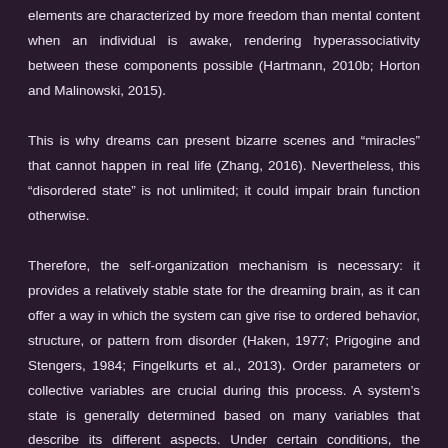elements are characterized by more freedom than mental content when an individual is awake, rendering hyperassociativity between these components possible (Hartmann, 2010b; Horton and Malinowski, 2015). This is why dreams can present bizarre scenes and “miracles” that cannot happen in real life (Zhang, 2016). Nevertheless, this “disordered state” is not unlimited; it could impair brain function otherwise. Therefore, the self-organization mechanism is necessary: it provides a relatively stable state for the dreaming brain, as it can offer a way in which the system can give rise to ordered behavior, structure, or pattern from disorder (Haken, 1977; Prigogine and Stengers, 1984; Fingelkurts et al., 2013). Order parameters or collective variables are crucial during this process. A system’s state is generally determined based on many variables that describe its different aspects. Under certain conditions, the interactions between different components will cause the system to reach a critical state at which most of these variables vanish quickly. To